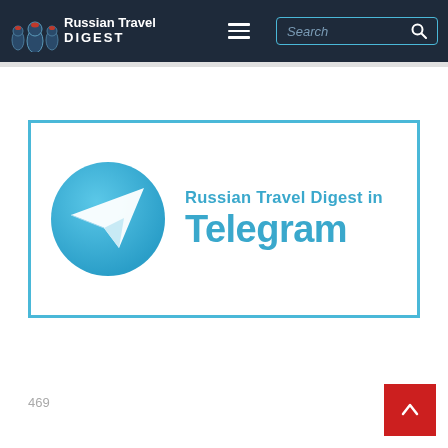Russian Travel DIGEST
[Figure (logo): Russian Travel Digest in Telegram promotional banner with Telegram logo (blue circle with white paper plane) and text 'Russian Travel Digest in Telegram' in blue]
469